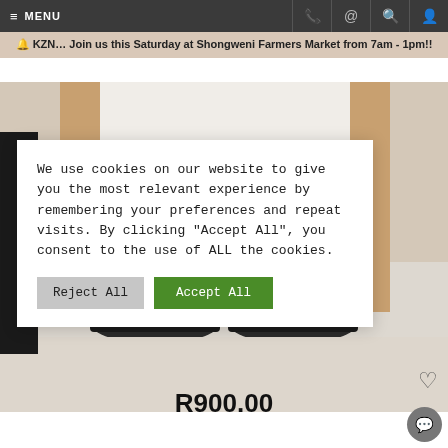≡ MENU
🔔 KZN… Join us this Saturday at Shongweni Farmers Market from 7am - 1pm!!
[Figure (photo): Photo of person's legs and feet wearing dark shoes, standing on a light floor]
We use cookies on our website to give you the most relevant experience by remembering your preferences and repeat visits. By clicking "Accept All", you consent to the use of ALL the cookies.
R900.00